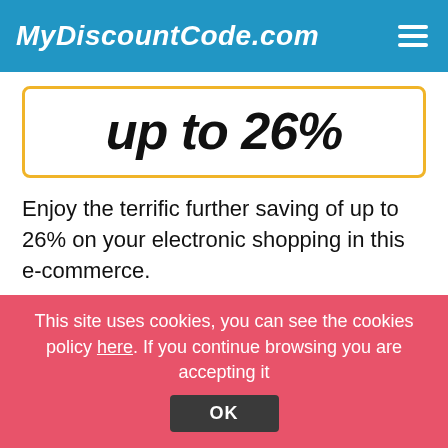MyDiscountCode.com
up to 26%
Enjoy the terrific further saving of up to 26% on your electronic shopping in this e-commerce.
Valid on Hoodies. Expires 08/28/2022.
SHOW DISCOUNT CODE SCOTTSDALE GOLF
This site uses cookies, you can see the cookies policy here. If you continue browsing you are accepting it
OK